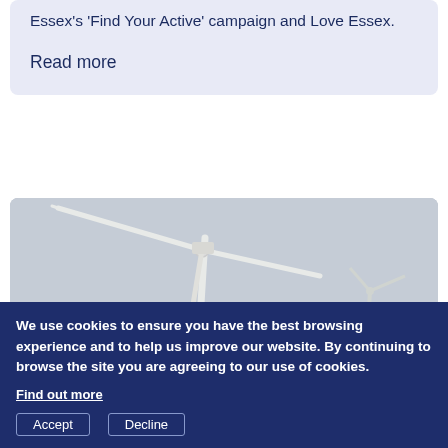Essex's 'Find Your Active' campaign and Love Essex.
Read more
[Figure (photo): Photograph of a large wind turbine against a grey sky, with a smaller structure visible in the lower right.]
We use cookies to ensure you have the best browsing experience and to help us improve our website. By continuing to browse the site you are agreeing to our use of cookies.
Find out more
Accept    Decline